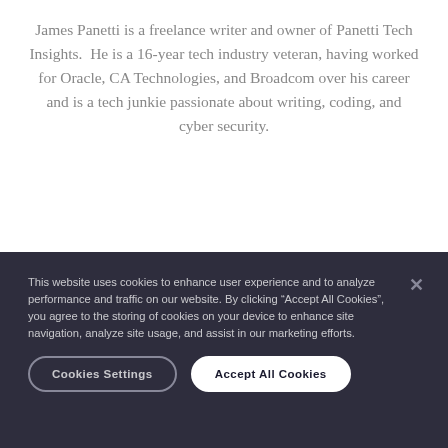James Panetti is a freelance writer and owner of Panetti Tech Insights. He is a 16-year tech industry veteran, having worked for Oracle, CA Technologies, and Broadcom over his career and is a tech junkie passionate about writing, coding, and cyber security.
This website uses cookies to enhance user experience and to analyze performance and traffic on our website. By clicking “Accept All Cookies”, you agree to the storing of cookies on your device to enhance site navigation, analyze site usage, and assist in our marketing efforts.